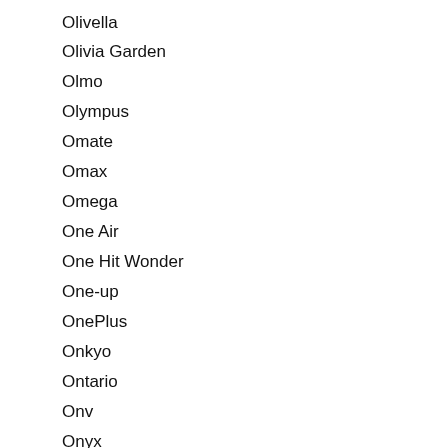Olivella
Olivia Garden
Olmo
Olympus
Omate
Omax
Omega
One Air
One Hit Wonder
One-up
OnePlus
Onkyo
Ontario
Onv
Onyx
Oonies
Open
OpenVox
Opinel
Oppo